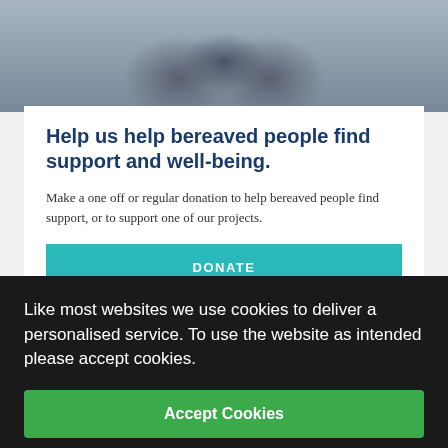[Figure (photo): Close-up photo of a person in a grey/blue shirt with hands visible, top portion of body shown from chest up against a light background.]
Help us help bereaved people find support and well-being.
Make a one off or regular donation to help bereaved people find support, or to support one of our projects.
DONATE
FUNDRAISE
Like most websites we use cookies to deliver a personalised service. To use the website as intended please accept cookies.
Accept Cookies